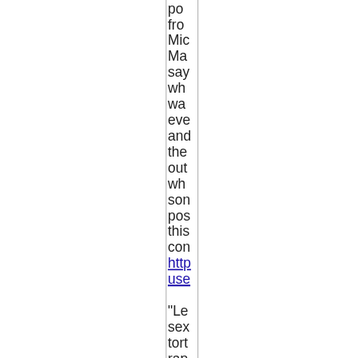po... from Mic Ma... say whe was eve and the out whe sor pos this con http use "Le sex tort rap mu